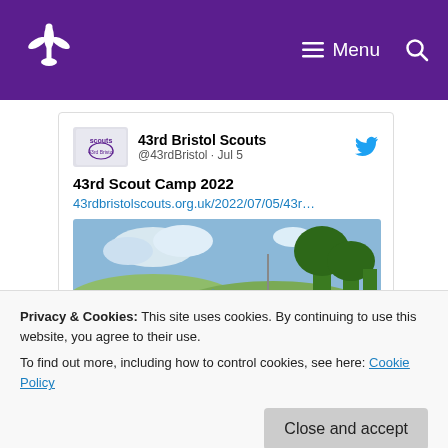Scouts — Menu (navigation bar with hamburger menu and search icon)
[Figure (screenshot): Tweet card from 43rd Bristol Scouts (@43rdBristol · Jul 5) showing '43rd Scout Camp 2022' with a link and an outdoor camp photo of people on a grassy hillside with tents and trees]
43rd Scout Camp 2022
43rdbristolscouts.org.uk/2022/07/05/43r...
Privacy & Cookies: This site uses cookies. By continuing to use this website, you agree to their use.
To find out more, including how to control cookies, see here: Cookie Policy
Close and accept
43rd Scout Camp 2022